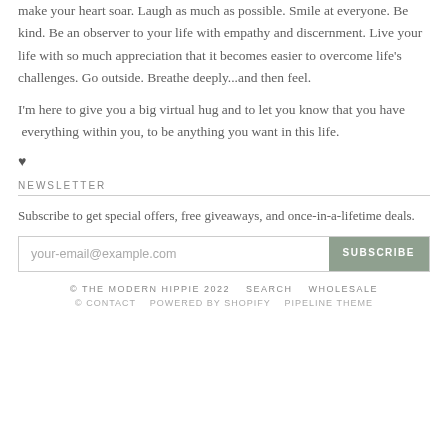make your heart soar. Laugh as much as possible. Smile at everyone. Be kind. Be an observer to your life with empathy and discernment. Live your life with so much appreciation that it becomes easier to overcome life's challenges. Go outside. Breathe deeply...and then feel.
I'm here to give you a big virtual hug and to let you know that you have everything within you, to be anything you want in this life.
♥
NEWSLETTER
Subscribe to get special offers, free giveaways, and once-in-a-lifetime deals.
[Figure (other): Email subscription form with input field placeholder 'your-email@example.com' and a SUBSCRIBE button]
© THE MODERN HIPPIE 2022   SEARCH   WHOLESALE
© CONTACT   POWERED BY SHOPIFY   PIPELINE THEME